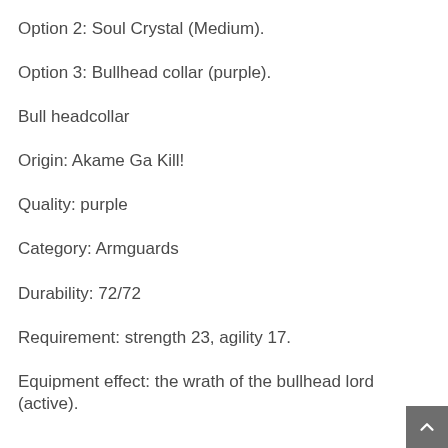Option 2: Soul Crystal (Medium).
Option 3: Bullhead collar (purple).
Bull headcollar
Origin: Akame Ga Kill!
Quality: purple
Category: Armguards
Durability: 72/72
Requirement: strength 23, agility 17.
Equipment effect: the wrath of the bullhead lord (active).